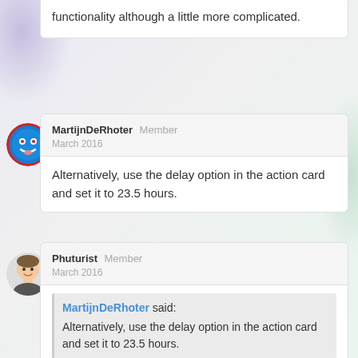functionality although a little more complicated.
MartijnDeRhoter Member
March 2016
Alternatively, use the delay option in the action card and set it to 23.5 hours.
Phuturist Member
March 2016
MartijnDeRhoter said:
Alternatively, use the delay option in the action card and set it to 23.5 hours.
True, but this does not survive a reboot (which I have to do quite often on the current firmware ..